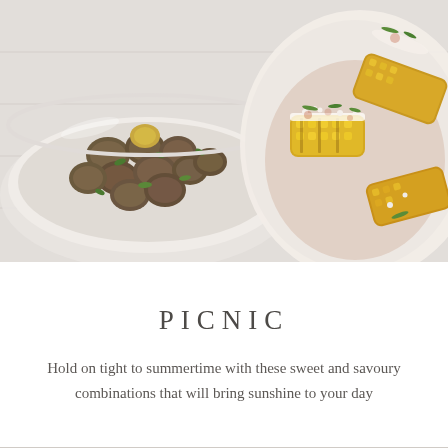[Figure (photo): Food photography showing two dishes on a white wooden surface: on the left, a white bowl filled with roasted baby potatoes tossed with green onions and herbs; on the right, a white plate with grilled corn on the cob pieces topped with crumbled cheese, green onions, and spices.]
PICNIC
Hold on tight to summertime with these sweet and savoury combinations that will bring sunshine to your day